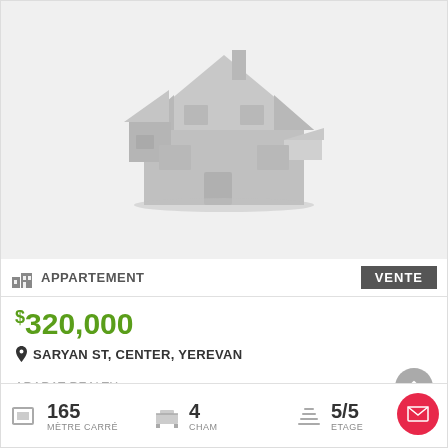[Figure (illustration): Placeholder house icon on light gray background for a real estate listing with no photo available]
APPARTEMENT | VENTE
$320,000
SARYAN ST, CENTER, YEREVAN
ARARAT REALTY
165 MÈTRE CARRÉ | 4 CHAM | 5/5 ETAGE